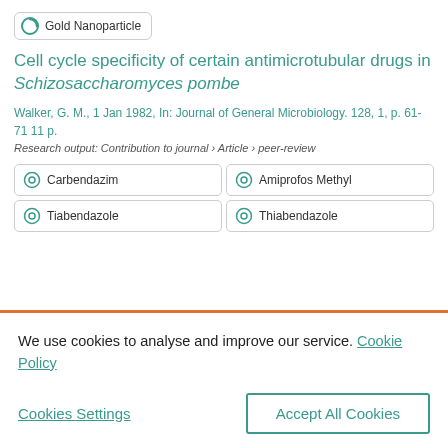[Figure (logo): Gold Nanoparticle badge/tag with circular teal icon]
Cell cycle specificity of certain antimicrotubular drugs in Schizosaccharomyces pombe
Walker, G. M., 1 Jan 1982, In: Journal of General Microbiology. 128, 1, p. 61-71 11 p.
Research output: Contribution to journal › Article › peer-review
Carbendazim
Amiprofos Methyl
Tiabendazole
Thiabendazole
We use cookies to analyse and improve our service. Cookie Policy
Cookies Settings
Accept All Cookies